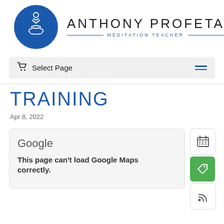[Figure (logo): Anthony Profeta Meditation Teacher logo — blue circle with line drawing of person meditating in lotus pose, next to brand name text]
Select Page
TRAINING
Apr 8, 2022
[Figure (screenshot): Google Maps embed error box showing 'Google' logo and text 'This page can't load Google Maps correctly.']
[Figure (other): Side buttons: calendar icon (white bg), green ticket/tag icon, RSS feed icon (white bg)]